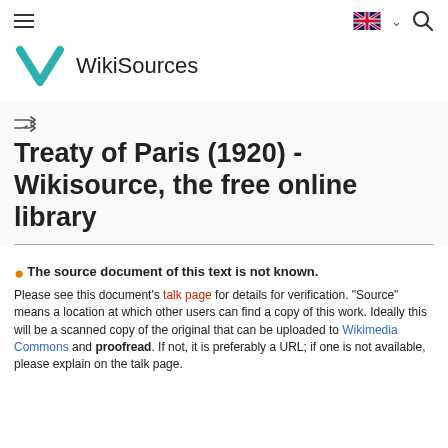WikiSources
[Figure (logo): WikiSources logo: teal/cyan chevron V shape with text WikiSources]
Treaty of Paris (1920) - Wikisource, the free online library
The source document of this text is not known. Please see this document's talk page for details for verification. "Source" means a location at which other users can find a copy of this work. Ideally this will be a scanned copy of the original that can be uploaded to Wikimedia Commons and proofread. If not, it is preferably a URL; if one is not available, please explain on the talk page.